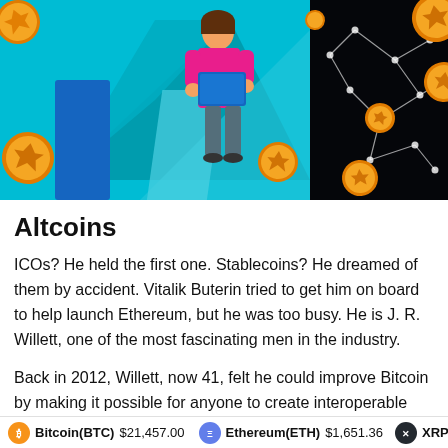[Figure (illustration): Illustration split into two panels: left panel shows a person in pink shirt holding a tablet/folder standing in front of large geometric triangle shapes in teal and blue with golden coin shapes; right panel shows a dark background with a network graph of glowing nodes connected by white lines, with golden coin shapes at various nodes.]
Altcoins
ICOs? He held the first one. Stablecoins? He dreamed of them by accident. Vitalik Buterin tried to get him on board to help launch Ethereum, but he was too busy. He is J. R. Willett, one of the most fascinating men in the industry.
Back in 2012, Willett, now 41, felt he could improve Bitcoin by making it possible for anyone to create interoperable tokens backed by the protocol. He released
Bitcoin(BTC)  $21,457.00    Ethereum(ETH)  $1,651.36    XRP(XR...